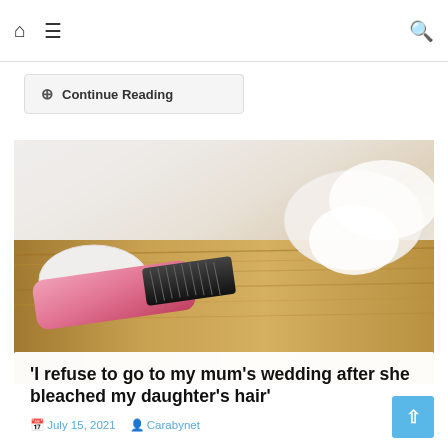Home | Menu | Search
Continue Reading
[Figure (photo): Close-up of gloved hands using a pink hair dye brush to apply dye to blonde hair]
'I refuse to go to my mum's wedding after she bleached my daughter's hair'
July 15, 2021   Carabynet